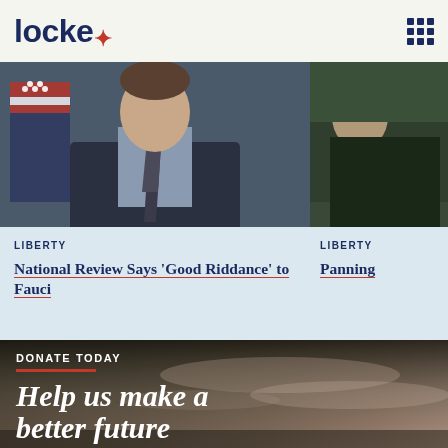locke
[Figure (photo): Man in dark suit with American flag in background, speaking at podium]
[Figure (photo): Partial image of person at right edge]
LIBERTY
National Review Says ‘Good Riddance’ to Fauci
LIBERTY
Panning
DONATE TODAY
Help us make a better future
By investing in the John Locke Foundation, you’re